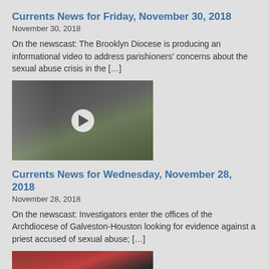Currents News for Friday, November 30, 2018
November 30, 2018
On the newscast: The Brooklyn Diocese is producing an informational video to address parishioners' concerns about the sexual abuse crisis in the [...]
[Figure (photo): Aerial view video thumbnail showing people and vehicles outside a building, with a play button overlay]
Currents News for Wednesday, November 28, 2018
November 28, 2018
On the newscast: Investigators enter the offices of the Archdiocese of Galveston-Houston looking for evidence against a priest accused of sexual abuse; [...]
[Figure (photo): Video thumbnail showing three people seated at a table with a red tablecloth, with a play button overlay]